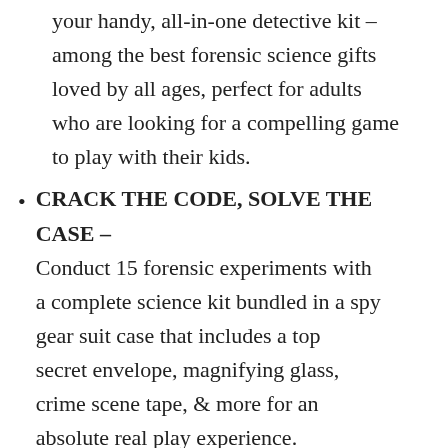your handy, all-in-one detective kit – among the best forensic science gifts loved by all ages, perfect for adults who are looking for a compelling game to play with their kids.
CRACK THE CODE, SOLVE THE CASE – Conduct 15 forensic experiments with a complete science kit bundled in a spy gear suit case that includes a top secret envelope, magnifying glass, crime scene tape, & more for an absolute real play experience.
THINK LIKE A TRUE DETECTIVE – Investigate the crime scene, decode secret messages, analyze fingerprint samples, extract DNA, mold footprints, and finally catch the culprit with the